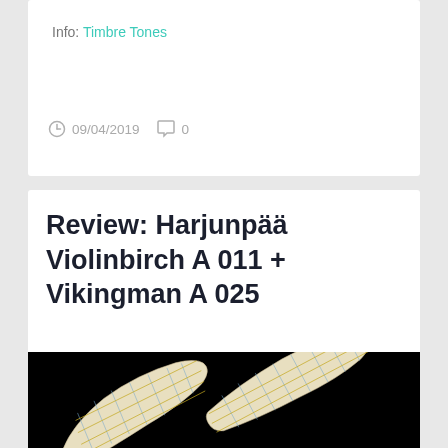Info: Timbre Tones
09/04/2019   0
Review: Harjunpää Violinbirch A 011 + Vikingman A 025
[Figure (photo): Two stringed instrument necks/bodies against a black background, featuring decorative grid patterns in yellow and blue on a whitish birch wood surface.]